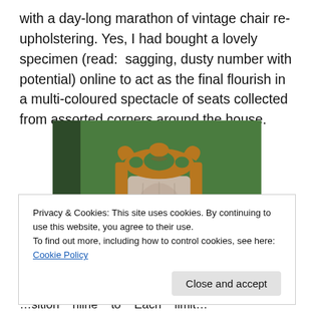with a day-long marathon of vintage chair re-upholstering. Yes, I had bought a lovely specimen (read: sagging, dusty number with potential) online to act as the final flourish in a multi-coloured spectacle of seats collected from assorted corners around the house.
[Figure (photo): Photograph of a vintage wooden chair with ornate carved back and worn fabric upholstery, photographed outdoors on grass.]
Privacy & Cookies: This site uses cookies. By continuing to use this website, you agree to their use. To find out more, including how to control cookies, see here: Cookie Policy
Close and accept
…sition…nline…to…Each…limit…